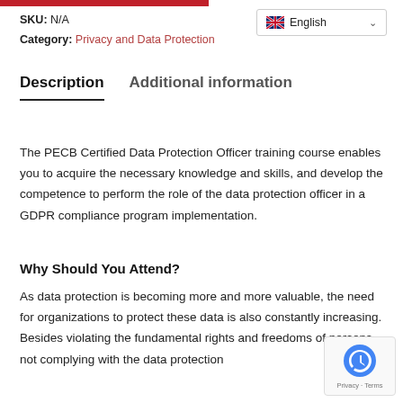SKU: N/A
Category: Privacy and Data Protection
Description   Additional information
The PECB Certified Data Protection Officer training course enables you to acquire the necessary knowledge and skills, and develop the competence to perform the role of the data protection officer in a GDPR compliance program implementation.
Why Should You Attend?
As data protection is becoming more and more valuable, the need for organizations to protect these data is also constantly increasing. Besides violating the fundamental rights and freedoms of persons, not complying with the data protection